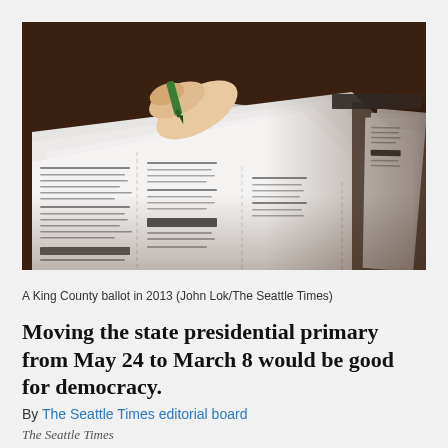[Figure (photo): A person holding a green marker/pen over a King County ballot, with multiple ballots spread on a dark wooden table, photographed in close-up perspective.]
A King County ballot in 2013 (John Lok/The Seattle Times)
Moving the state presidential primary from May 24 to March 8 would be good for democracy.
By The Seattle Times editorial board
The Seattle Times